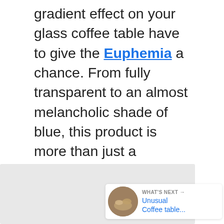gradient effect on your glass coffee table have to give the Euphemia a chance. From fully transparent to an almost melancholic shade of blue, this product is more than just a magazine and remote control support: it's an eye-catcher! It follows the similar design patterns that some of the other coffee tables of today do as well, with a single glass sheet and rounded corners for added safety.
[Figure (screenshot): Heart/like button (blue circle with heart icon) with count of 1, and a share button below it]
[Figure (screenshot): What's Next widget showing a thumbnail of bread/food and text 'Unusual Coffee table...']
[Figure (photo): Gray/light colored image area at the bottom left of the page]